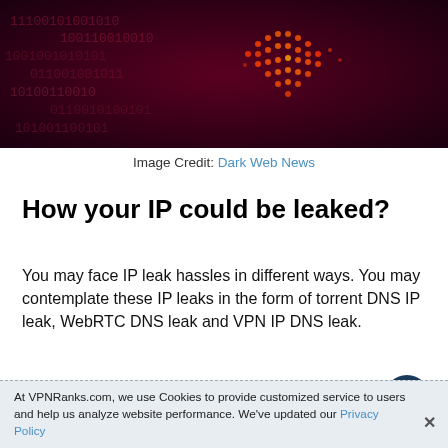[Figure (photo): Dark web themed image with binary/hex code background in dark red/purple tones with a glowing digital heart shape made of orange/red dots]
Image Credit: Dark Web News
How your IP could be leaked?
You may face IP leak hassles in different ways. You may contemplate these IP leaks in the form of torrent DNS IP leak, WebRTC DNS leak and VPN IP DNS leak.
Torrent DNS IP leak
At VPNRanks.com, we use Cookies to provide customized service to users and help us analyze website performance. We've updated our Privacy Policy